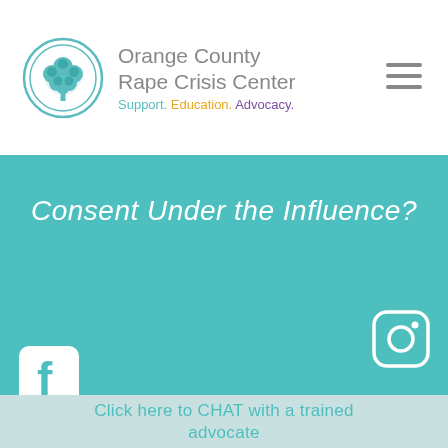[Figure (logo): Orange County Rape Crisis Center logo: teal circle with tree illustration and organization name. Tagline: Support. Education. Advocacy.]
Consent Under the Influence?
[Figure (illustration): Instagram icon (rounded square with camera outline) in white on teal background]
[Figure (illustration): Facebook icon (rounded square with 'f' letterform) in white on teal background]
Click here to CHAT with a trained advocate